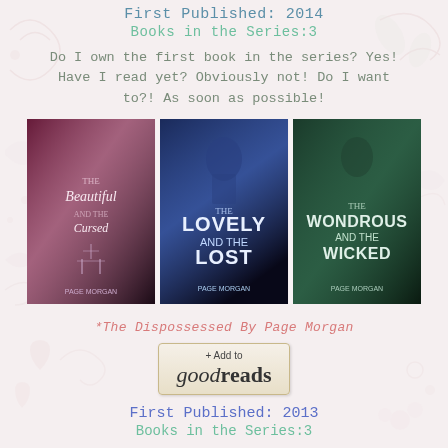First Published: 2014
Books in the Series:3
Do I own the first book in the series? Yes! Have I read yet? Obviously not! Do I want to?! As soon as possible!
[Figure (photo): Three book covers from The Dispossessed series by Page Morgan: The Beautiful and the Cursed, The Lovely and the Lost, The Wondrous and the Wicked]
*The Dispossessed By Page Morgan
[Figure (screenshot): + Add to goodreads button]
First Published: 2013
Books in the Series:3
This has been on my wishlist for ages! I've